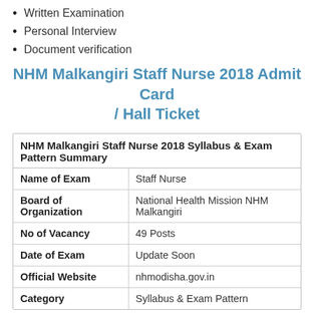Written Examination
Personal Interview
Document verification
NHM Malkangiri Staff Nurse 2018 Admit Card / Hall Ticket
| NHM Malkangiri Staff Nurse 2018 Syllabus & Exam Pattern Summary |  |
| --- | --- |
| Name of Exam | Staff Nurse |
| Board of Organization | National Health Mission NHM Malkangiri |
| No of Vacancy | 49 Posts |
| Date of Exam | Update Soon |
| Official Website | nhmodisha.gov.in |
| Category | Syllabus & Exam Pattern |